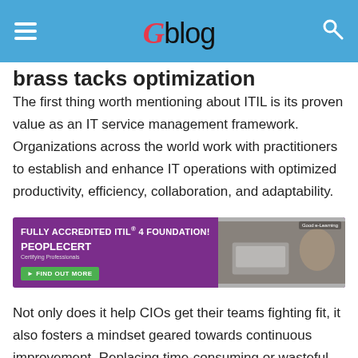Gblog
brass tacks optimization
The first thing worth mentioning about ITIL is its proven value as an IT service management framework. Organizations across the world work with practitioners to establish and enhance IT operations with optimized productivity, efficiency, collaboration, and adaptability.
[Figure (other): Advertisement banner for PeopleCert Fully Accredited ITIL® 4 Foundation with a Find Out More button and e-Learning badge]
Not only does it help CIOs get their teams fighting fit, it also fosters a mindset geared towards continuous improvement. Replacing time-consuming or wasteful processes and sharing data throughout the IT service lifecycle leads to frequent cost reductions